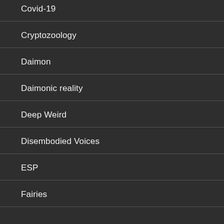Covid-19
Cryptozoology
Daimon
Daimonic reality
Deep Weird
Disembodied Voices
ESP
Fairies